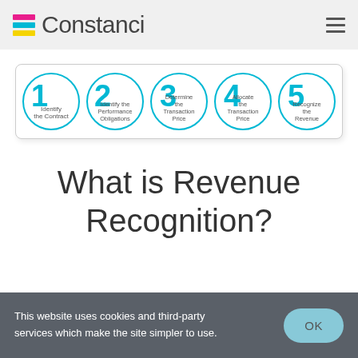[Figure (logo): Constanci logo with colored horizontal stripes (pink, teal, yellow) and the text 'Constanci' in gray]
[Figure (infographic): Five-step revenue recognition process shown as numbered circles: 1 Identify the Contract, 2 Identify the Performance Obligations, 3 Determine the Transaction Price, 4 Allocate the Transaction Price, 5 Recognize the Revenue]
What is Revenue Recognition?
This website uses cookies and third-party services which make the site simpler to use.